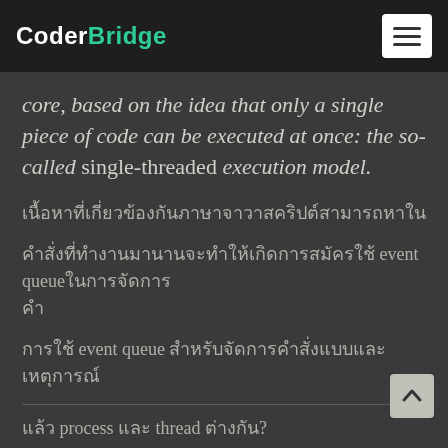CoderBridge
core, based on the idea that only a single piece of code can be executed at once: the so-called single-threaded execution model.
[Thai text paragraph 1]
[Thai text paragraph 2 with 'event queue' mention]
[Thai text with 'event queue' mention 3]
[Thai text with 'process' and 'thread' mention]